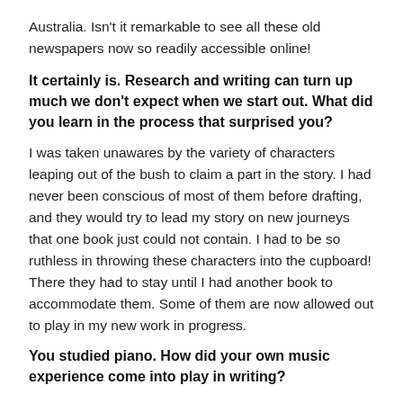Australia. Isn't it remarkable to see all these old newspapers now so readily accessible online!
It certainly is. Research and writing can turn up much we don't expect when we start out. What did you learn in the process that surprised you?
I was taken unawares by the variety of characters leaping out of the bush to claim a part in the story. I had never been conscious of most of them before drafting, and they would try to lead my story on new journeys that one book just could not contain. I had to be so ruthless in throwing these characters into the cupboard! There they had to stay until I had another book to accommodate them. Some of them are now allowed out to play in my new work in progress.
You studied piano. How did your own music experience come into play in writing?